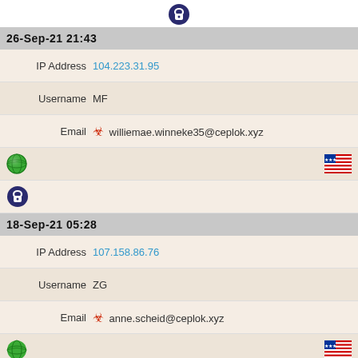[Figure (illustration): Dark blue circular lock/info icon at top]
26-Sep-21 21:43
IP Address  104.223.31.95
Username  MF
Email  williemae.winneke35@ceplok.xyz
[Figure (illustration): Globe icon and US flag icon row]
[Figure (illustration): Dark blue circular lock icon]
18-Sep-21 05:28
IP Address  107.158.86.76
Username  ZG
Email  anne.scheid@ceplok.xyz
[Figure (illustration): Globe icon and US flag icon row]
[Figure (illustration): Dark blue circular lock icon]
17-Sep-21 15:16
IP Address  107.158.86.57
Username  DQ
Email  admin@ceplok.xyz